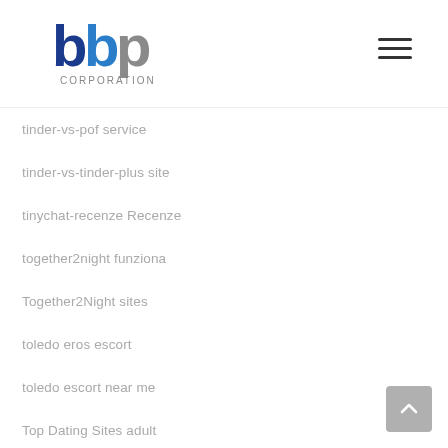BBP Corporation logo and navigation
tinder-vs-pof service
tinder-vs-tinder-plus site
tinychat-recenze Recenze
together2night funziona
Together2Night sites
toledo eros escort
toledo escort near me
Top Dating Sites adult
Top Dating Sites service
Top Dating Sites site